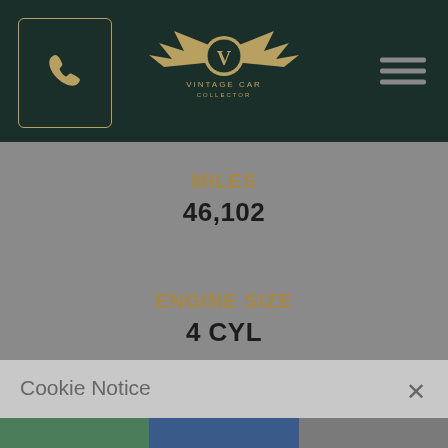[Figure (logo): Vintage Car Collector logo with gold winged emblem and text]
MILES
46,102
ENGINE SIZE
4 CYL
TRANSMISSION
MANUAL
DRIVETRAIN
RWD
Cookie Notice